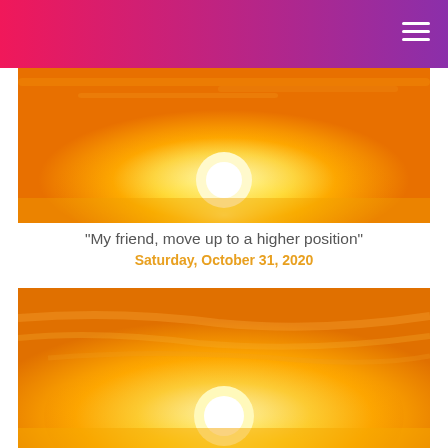[Figure (photo): Bright orange and yellow sunset sky with glowing white sun near the horizon and wispy clouds]
"My friend, move up to a higher position"
Saturday, October 31, 2020
[Figure (photo): Bright orange and yellow sunset sky with glowing white sun near the center-bottom and layered clouds]